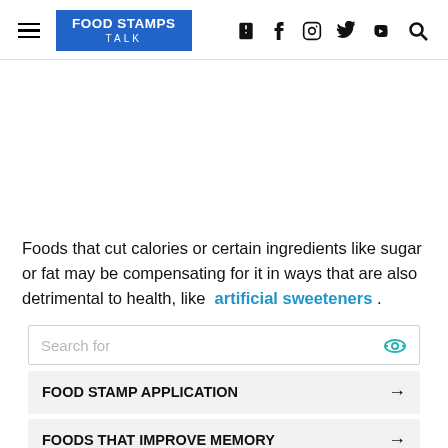FOOD STAMPS TALK
Foods that cut calories or certain ingredients like sugar or fat may be compensating for it in ways that are also detrimental to health, like artificial sweeteners .
Search for
FOOD STAMP APPLICATION →
FOODS THAT IMPROVE MEMORY →
Ad | Business Focus